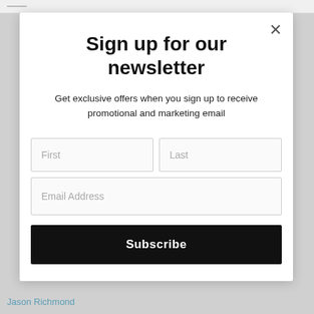Sign up for our newsletter
Get exclusive offers when you sign up to receive promotional and marketing email
First
Last
Email Address
Subscribe
Jason Richmond